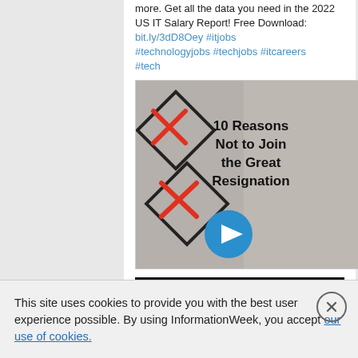more. Get all the data you need in the 2022 US IT Salary Report! Free Download: bit.ly/3dD8Oey #itjobs #technologyjobs #techjobs #itcareers #tech
[Figure (screenshot): Video thumbnail showing checklist with red X marks on the left and bold text '10 Reasons Not to Join the Great Resignation' on the right, with a blue play button at the bottom center.]
SPONSORED LIVE STREAMING VIDEO
This site uses cookies to provide you with the best user experience possible. By using InformationWeek, you accept our use of cookies.